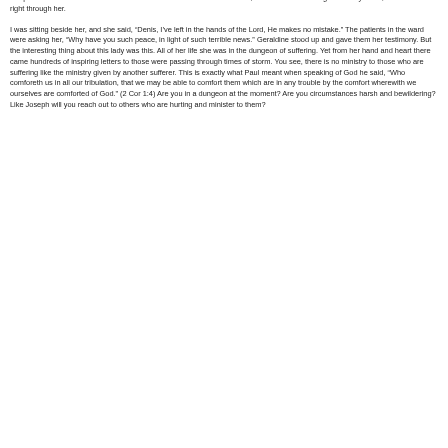Hospital. I had come in on the heels of her consultant who had said to her, that there was nothing more they could, the cancer was right through her.
I was sitting beside her, and she said, “Denis, I’ve left in the hands of the Lord, He makes no mistake.” The patients in the ward were asking her, “Why have you such peace, in light of such terrible news.” Geraldine stood up and gave them her testimony. But the interesting thing about this lady was this. All of her life she was in the dungeon of suffering. Yet from her hand and heart there came hundreds of inspiring letters to those were passing through times of storm. You see, there is no ministry to those who are suffering like the ministry given by another sufferer. This is exactly what Paul meant when speaking of God he said, “Who comforeth us in all our tribulation, that we may be able to comfort them which are in any trouble by the comfort wherewith we ourselves are comforted of God.” (2 Cor 1:4) Are you in a dungeon at the moment? Are you circumstances harsh and bewildering? Like Joseph will you reach out to others who are hurting and minister to them?